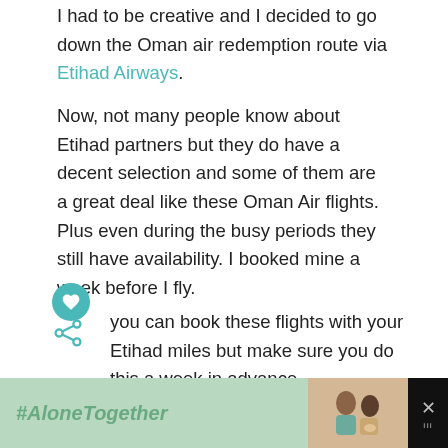I had to be creative and I decided to go down the Oman air redemption route via Etihad Airways.
Now, not many people know about Etihad partners but they do have a decent selection and some of them are a great deal like these Oman Air flights. Plus even during the busy periods they still have availability. I booked mine a week before I fly.
You can book these flights with your Etihad miles but make sure you do this a week in advance.
[Figure (infographic): Advertisement banner at bottom: #AloneTogether text on green background with a photo of two people and a close button]
[Figure (infographic): What's Next widget: Best Luxury for Hijabis article preview with thumbnail image]